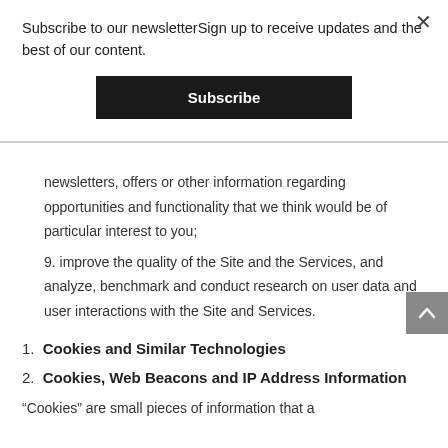Subscribe to our newsletterSign up to receive updates and the best of our content.
Subscribe
newsletters, offers or other information regarding opportunities and functionality that we think would be of particular interest to you;
9. improve the quality of the Site and the Services, and analyze, benchmark and conduct research on user data and user interactions with the Site and Services.
1. Cookies and Similar Technologies
2. Cookies, Web Beacons and IP Address Information
“Cookies” are small pieces of information that a